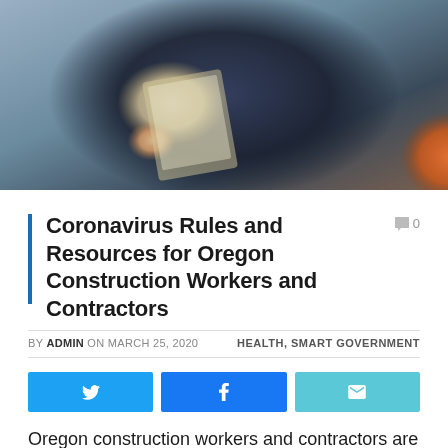[Figure (photo): Person in dark blue shirt writing on a clipboard, with an orange safety vest visible to the right, outdoor construction setting]
Coronavirus Rules and Resources for Oregon Construction Workers and Contractors
BY ADMIN ON MARCH 25, 2020   HEALTH, SMART GOVERNMENT
[Figure (infographic): Three social share buttons: Twitter (blue), Facebook (blue), Email (light blue)]
Oregon construction workers and contractors are permitted to continue working, as long as they follow new social distancing requirements